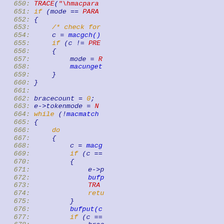[Figure (screenshot): Source code listing showing C/C++ code lines 650-679 with syntax highlighting. Line numbers in italic orange/yellow, keywords in orange, identifiers in blue/navy, numbers in orange. Background is light periwinkle/lavender blue.]